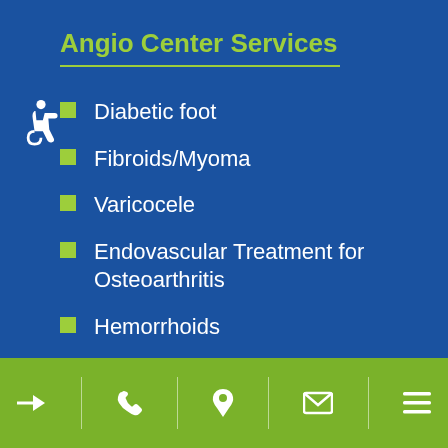Angio Center Services
Diabetic foot
Fibroids/Myoma
Varicocele
Endovascular Treatment for Osteoarthritis
Hemorrhoids
Varicose Veins
Navigation footer with icons: arrow, phone, location, email, menu